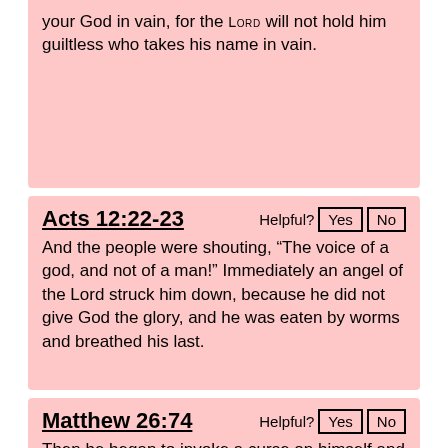your God in vain, for the LORD will not hold him guiltless who takes his name in vain.
Acts 12:22-23
And the people were shouting, “The voice of a god, and not of a man!” Immediately an angel of the Lord struck him down, because he did not give God the glory, and he was eaten by worms and breathed his last.
Matthew 26:74
Then he began to invoke a curse on himself and to swear, “I do not know the